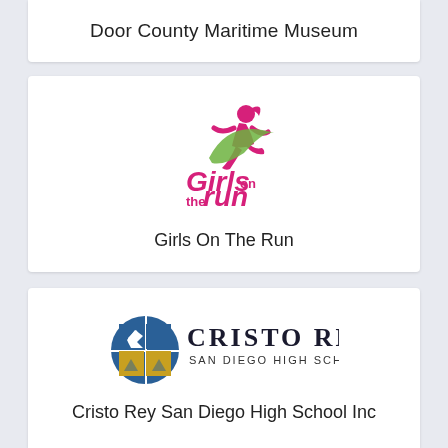Door County Maritime Museum
[Figure (logo): Girls on the Run logo — a stylized running girl figure in pink and green with the text 'Girls on the run' in magenta/pink]
Girls On The Run
[Figure (logo): Cristo Rey San Diego High School logo — a circular cross emblem in blue and gold/yellow beside the text 'CRISTO REY SAN DIEGO HIGH SCHOOL']
Cristo Rey San Diego High School Inc